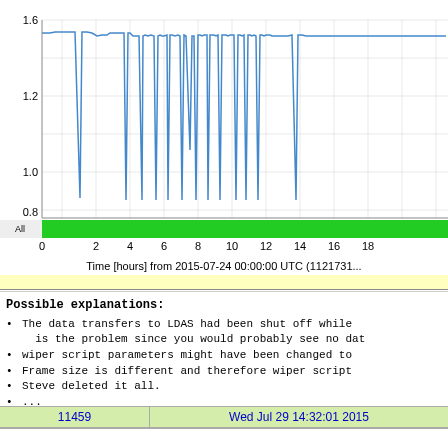[Figure (continuous-plot): Line chart showing data values (approximately 0.8–1.6 range) over time in hours from 2015-07-24 00:00:00 UTC (1121731...). X-axis shows 'Time [hours] from 2015-07-24 00:00:00 UTC (1121731...)' with ticks at 0,2,4,6,8,10,12,14,16,18. Y-axis shows values from ~0.8 to ~1.6. A blue line fluctuates mostly around 1.45-1.5 with many sharp downward spikes. A green bar labeled 'All' appears below the plot area.]
Possible explanations:
The data transfers to LDAS had been shut off while is the problem since you would probably see no dat
wiper script parameters might have been changed to
Frame size is different and therefore wiper script
Steve deleted it all.
...
11459    Wed Jul 29 14:32:01 2015